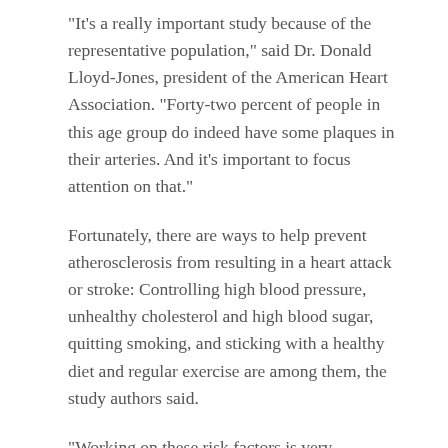"It's a really important study because of the representative population," said Dr. Donald Lloyd-Jones, president of the American Heart Association. "Forty-two percent of people in this age group do indeed have some plaques in their arteries. And it's important to focus attention on that."
Fortunately, there are ways to help prevent atherosclerosis from resulting in a heart attack or stroke: Controlling high blood pressure, unhealthy cholesterol and high blood sugar, quitting smoking, and sticking with a healthy diet and regular exercise are among them, the study authors said.
"Working on these risk factors is very important in this age span," said Dr. Goran Bergstrom, the lead researcher on the study and a professor at the University of Gothenburg, in Sweden.